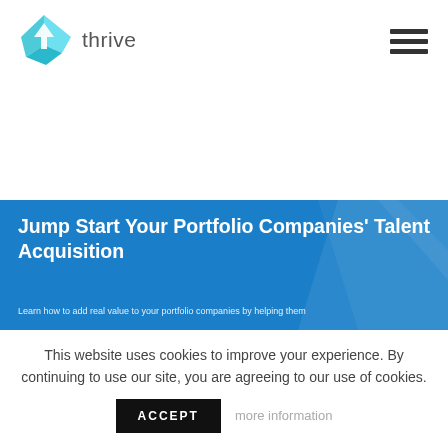[Figure (logo): Thrive logo with blue geometric house/diamond icon and text 'thrive']
[Figure (other): Hamburger menu icon (three horizontal dark bars)]
SHARE THIS:
[Figure (other): Twitter social share button (light blue circle with white bird icon)]
[Figure (other): LinkedIn social share button (dark teal circle with white 'in' icon)]
[Figure (other): Blue banner with title 'Jump Start Your Portfolio Companies' Talent Acquisition' and subtitle 'Learn how to add real value to your portfolio companies by helping them']
This website uses cookies to improve your experience. By continuing to use our site, you are agreeing to our use of cookies.
ACCEPT
more information